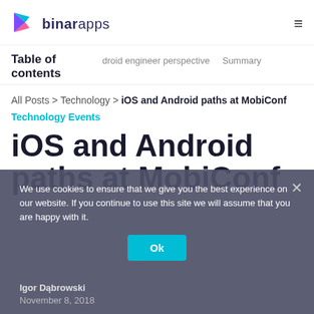binarapps
Table of contents | droid engineer perspective | Summary
All Posts > Technology > iOS and Android paths at MobiConf
Technology Events
iOS and Android paths at MobiConf
We use cookies to ensure that we give you the best experience on our website. If you continue to use this site we will assume that you are happy with it.
Ok
Igor Dąbrowski
November 8, 2018